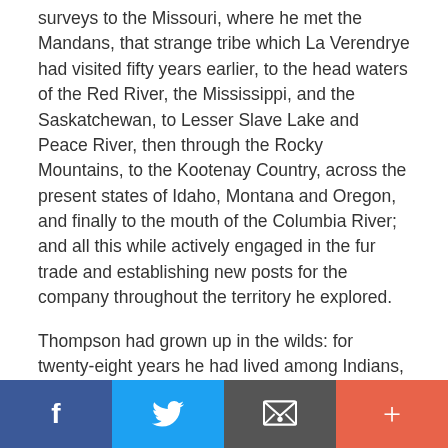surveys to the Missouri, where he met the Mandans, that strange tribe which La Verendrye had visited fifty years earlier, to the head waters of the Red River, the Mississippi, and the Saskatchewan, to Lesser Slave Lake and Peace River, then through the Rocky Mountains, to the Kootenay Country, across the present states of Idaho, Montana and Oregon, and finally to the mouth of the Columbia River; and all this while actively engaged in the fur trade and establishing new posts for the company throughout the territory he explored.
Thompson had grown up in the wilds: for twenty-eight years he had lived among Indians, half-breeds and fur traders; these
Facebook | Twitter | Email | +